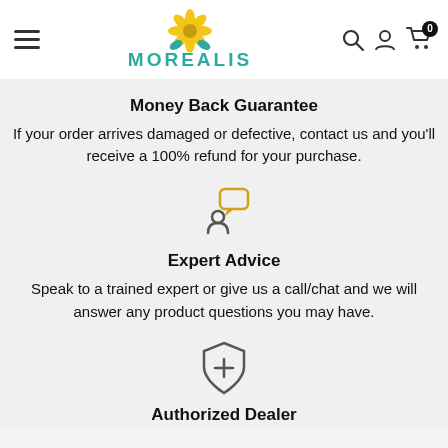MOREALIS (logo/navigation header)
Money Back Guarantee
If your order arrives damaged or defective, contact us and you'll receive a 100% refund for your purchase.
[Figure (illustration): Person with speech bubble icon (customer support / contact us)]
Expert Advice
Speak to a trained expert or give us a call/chat and we will answer any product questions you may have.
[Figure (illustration): Shield with plus sign icon (authorized dealer / protection)]
Authorized Dealer